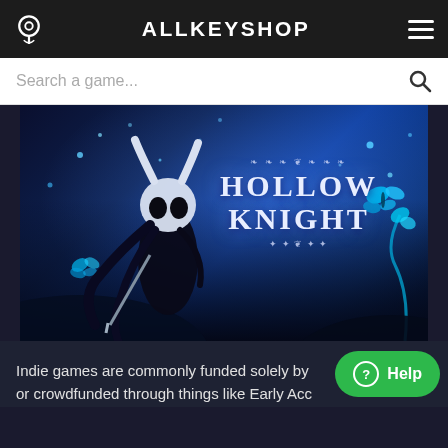ALLKEYSHOP
Search a game...
[Figure (screenshot): Hollow Knight game promotional banner image showing the game's main character (a bug knight in white mask with horns) against a dark blue magical forest background with glowing blue butterflies and the text 'HOLLOW KNIGHT']
Indie games are commonly funded solely by or crowdfunded through things like Early Acc